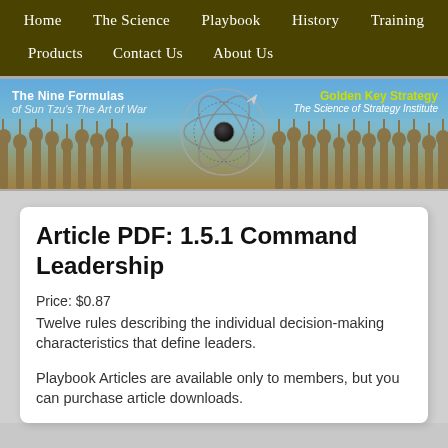Home | The Science | Playbook | History | Training | Products | Contact Us | About Us
[Figure (illustration): Banner image showing terracotta warriors background with blue sky, atom/orbital logo in center, text 'The Nine Formulas of Sun Tzu's The Art of War' on left, 'Golden Key Strategy - The Science of Strategy Institute' on right in yellow]
Article PDF: 1.5.1 Command Leadership
Price: $0.87
Twelve rules describing the individual decision-making characteristics that define leaders.
Playbook Articles are available only to members, but you can purchase article downloads.